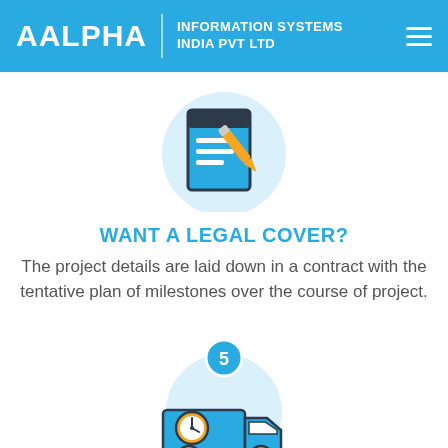AALPHA | INFORMATION SYSTEMS INDIA PVT LTD
[Figure (illustration): Icon of a document/contract with horizontal lines and an orange pencil/pen, on a light blue circular background]
WANT A LEGAL COVER?
The project details are laid down in a contract with the tentative plan of milestones over the course of project.
[Figure (illustration): Icon of a delivery truck with an orange clock/timer on it, with a step number 5 badge on a light blue circular background]